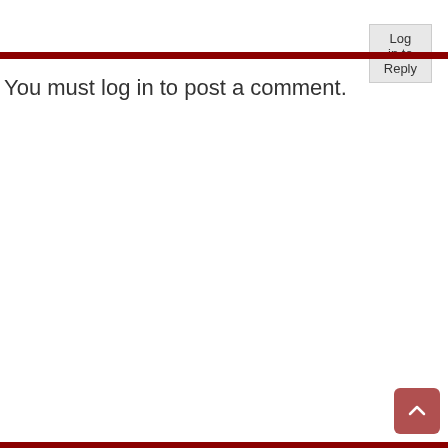Log in to Reply
You must log in to post a comment.